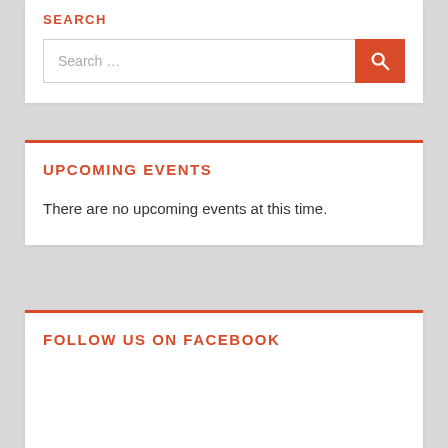SEARCH
Search …
UPCOMING EVENTS
There are no upcoming events at this time.
FOLLOW US ON FACEBOOK